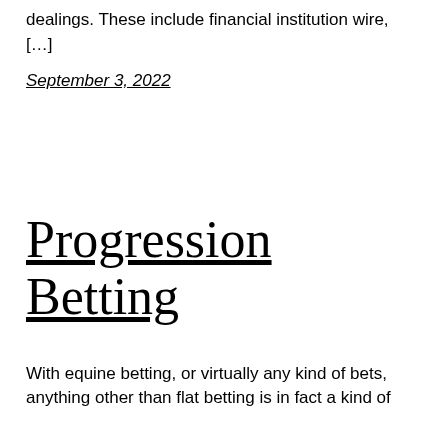dealings. These include financial institution wire, […]
September 3, 2022
Progression Betting
With equine betting, or virtually any kind of bets, anything other than flat betting is in fact a kind of